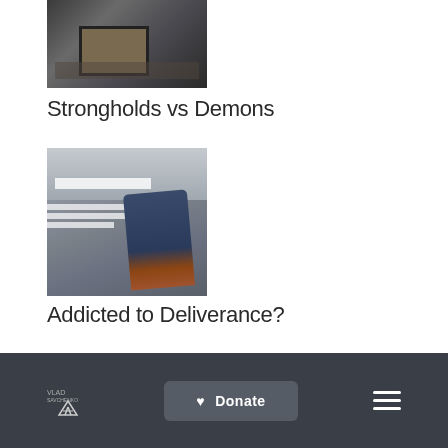[Figure (photo): Photo of a destroyed or burned room interior with debris, charred objects and a rectangular frame structure on the floor]
Strongholds vs Demons
[Figure (photo): Blurred motion photo of a person walking across a street crosswalk, showing legs in blue jeans and brown shoes against a grey pavement background]
Addicted to Deliverance?
Donate